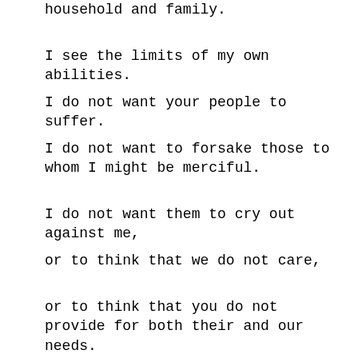household and family.
I see the limits of my own abilities.
I do not want your people to suffer.
I do not want to forsake those to whom I might be merciful.
I do not want them to cry out against me,
or to think that we do not care,
or to think that you do not provide for both their and our needs.
to be not stated above all and above t